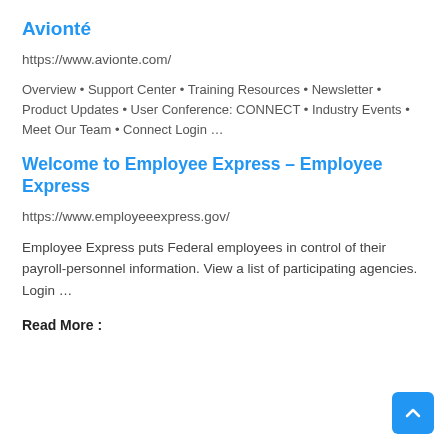Avionté
https://www.avionte.com/
Overview • Support Center • Training Resources • Newsletter • Product Updates • User Conference: CONNECT • Industry Events • Meet Our Team • Connect Login …
Welcome to Employee Express – Employee Express
https://www.employeeexpress.gov/
Employee Express puts Federal employees in control of their payroll-personnel information. View a list of participating agencies. Login …
Read More :